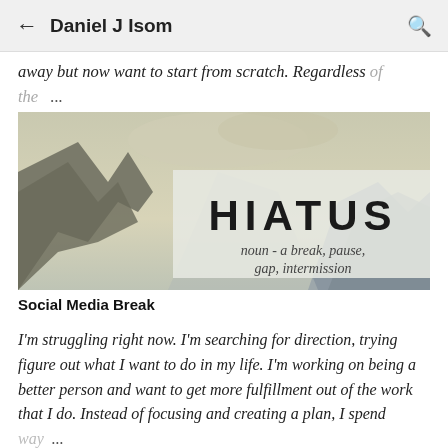Daniel J Isom
away but now want to start from scratch. Regardless of the ...
[Figure (photo): Mountain landscape with overlaid text reading HIATUS, noun - a break, pause, gap, intermission]
Social Media Break
I'm struggling right now. I'm searching for direction, trying figure out what I want to do in my life. I'm working on being a better person and want to get more fulfillment out of the work that I do. Instead of focusing and creating a plan, I spend way ...